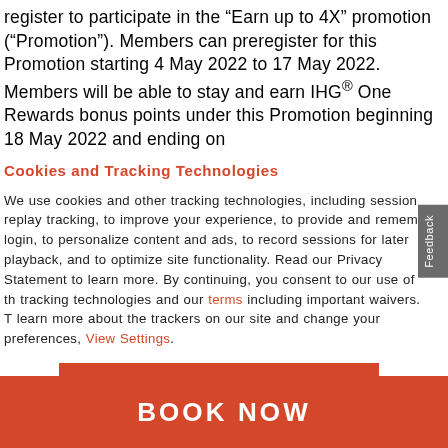register to participate in the “Earn up to 4X” promotion (“Promotion”). Members can preregister for this Promotion starting 4 May 2022 to 17 May 2022. Members will be able to stay and earn IHG® One Rewards bonus points under this Promotion beginning 18 May 2022 and ending on
Cookies and Tracking Technologies
We use cookies and other tracking technologies, including session replay tracking, to improve your experience, to provide and remember login, to personalize content and ads, to record sessions for later playback, and to optimize site functionality. Read our Privacy Statement to learn more. By continuing, you consent to our use of these tracking technologies and our terms including important waivers. To learn more about the trackers on our site and change your preferences, View Settings.
ACCEPT
BOOK NOW